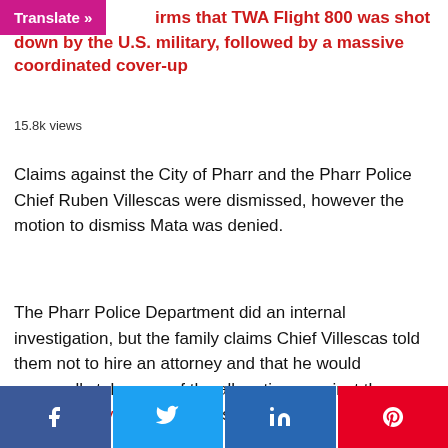Translate » firms that TWA Flight 800 was shot down by the U.S. military, followed by a massive coordinated cover-up
15.8k views
Claims against the City of Pharr and the Pharr Police Chief Ruben Villescas were dismissed, however the motion to dismiss Mata was denied.
The Pharr Police Department did an internal investigation, but the family claims Chief Villescas told them not to hire an attorney and that he would personally take care of the allegations against the officer, Valley Central reports.
[Social share buttons: Facebook, Twitter, LinkedIn, Pinterest]